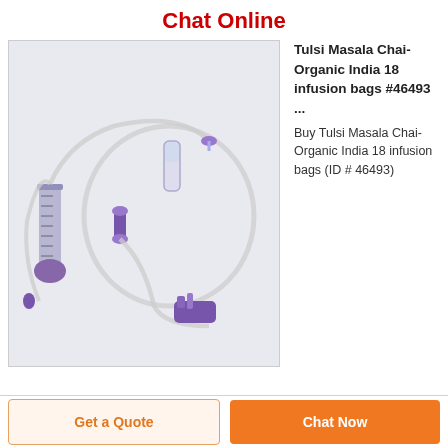Chat Online
[Figure (photo): Medical infusion set with IV tubing, drip chamber, syringe barrel, connectors and purple clamp/stopper components on white background]
Tulsi Masala Chai-Organic India 18 infusion bags #46493 ...
Buy Tulsi Masala Chai-Organic India 18 infusion bags (ID # 46493)
Get a Quote
Chat Now